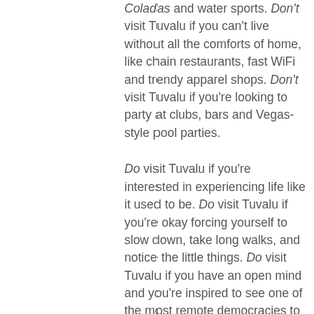Coladas and water sports. Don't visit Tuvalu if you can't live without all the comforts of home, like chain restaurants, fast WiFi and trendy apparel shops. Don't visit Tuvalu if you're looking to party at clubs, bars and Vegas-style pool parties.

Do visit Tuvalu if you're interested in experiencing life like it used to be. Do visit Tuvalu if you're okay forcing yourself to slow down, take long walks, and notice the little things. Do visit Tuvalu if you have an open mind and you're inspired to see one of the most remote democracies to experience a lifestyle like nothing back home. And do visit Tuvalu if you're ready to receive unrequited love from every